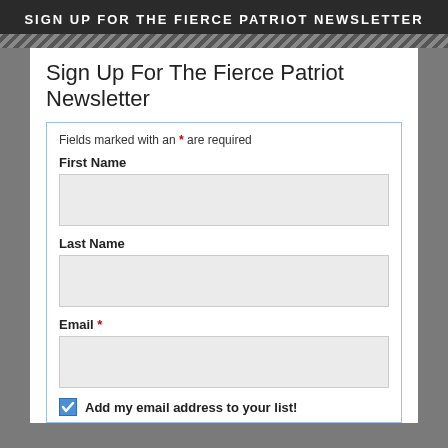SIGN UP FOR THE FIERCE PATRIOT NEWSLETTER
Sign Up For The Fierce Patriot Newsletter
Fields marked with an * are required
First Name
Last Name
Email *
Add my email address to your list!